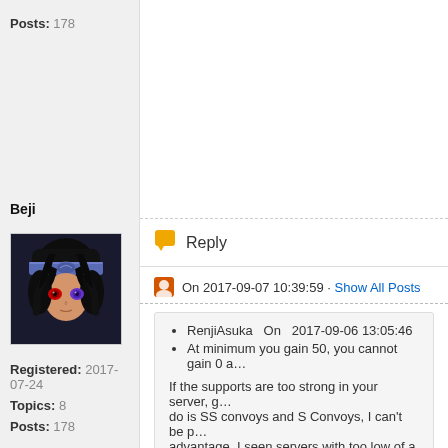Posts: 178
Reply
On 2017-09-07 10:39:59 · Show All Posts
Beji
[Figure (illustration): Anime character avatar with dark hair, red and blue eyes, wearing a dark headband]
Registered: 2017-07-24
Topics: 8
Posts: 178
RenjiAsuka  On  2017-09-06 13:05:46
At minimum you gain 50, you cannot gain 0 a...
If the supports are too strong in your server, g... do is SS convoys and S Convoys, I can't be p... advantage. I seen servers with too low of a p... servers that are over populated which means...
I am pretty sure he was just using rhetoric to say... coupons, so he was also technically correct in s...